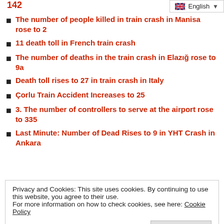142
The number of people killed in train crash in Manisa rose to 2
11 death toll in French train crash
The number of deaths in the train crash in Elazığ rose to 9a
Death toll rises to 27 in train crash in Italy
Çorlu Train Accident Increases to 25
3. The number of controllers to serve at the airport rose to 335
Last Minute: Number of Dead Rises to 9 in YHT Crash in Ankara
Privacy and Cookies: This site uses cookies. By continuing to use this website, you agree to their use.
For more information on how to check cookies, see here: Cookie Policy
The Number of Air Traffic Controllers Working at DHMI